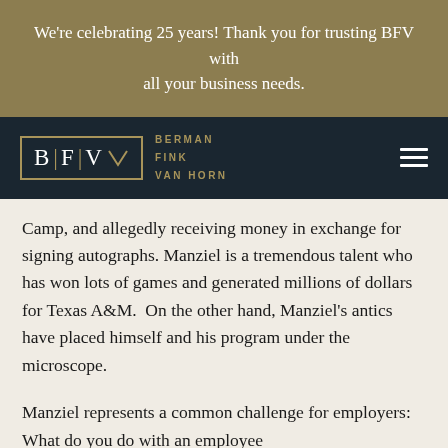We’re celebrating 25 years! Thank you for trusting BFV with all your business needs.
[Figure (logo): Berman Fink Van Horn law firm logo: BFV letters in a gold-bordered box on dark navy background, with firm name to the right in gold letters.]
Camp, and allegedly receiving money in exchange for signing autographs. Manziel is a tremendous talent who has won lots of games and generated millions of dollars for Texas A&M.  On the other hand, Manziel’s antics have placed himself and his program under the microscope.
Manziel represents a common challenge for employers:  What do you do with an employee